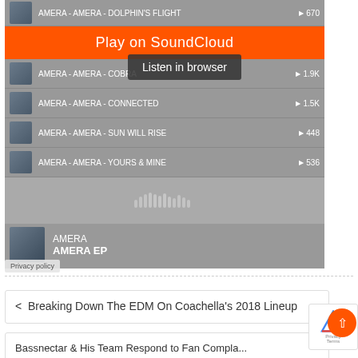[Figure (screenshot): SoundCloud embedded player showing AMERA EP tracks. Tracks listed: AMERA - AMERA - DOLPHIN'S FLIGHT (670 plays), AMERA - AMERA - COBRA (1.9K plays), AMERA - AMERA - CONNECTED (1.5K plays), AMERA - AMERA - SUN WILL RISE (448 plays), AMERA - AMERA - YOURS & MINE (536 plays). Orange 'Play on SoundCloud' button and 'Listen in browser' tooltip visible. SoundCloud logo shown. Footer shows AMERA / AMERA EP album info.]
Privacy policy
< Breaking Down The EDM On Coachella's 2018 Lineup
Bassnectar & His Team Respond to Fan Complaints About...